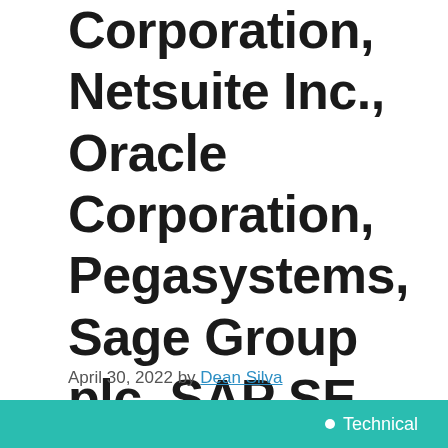Corporation, Netsuite Inc., Oracle Corporation, Pegasystems, Sage Group plc, SAP SE, SugarCRM, Zoho Corporation Pvt. Ltd, Creatio, Adobe Inc., IBM, Amdocs Inc.
April 30, 2022 by Dean Silva
Technical